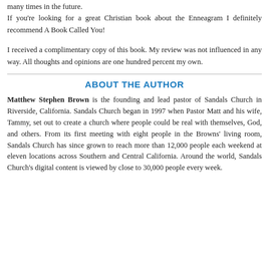many times in the future. If you're looking for a great Christian book about the Enneagram I definitely recommend A Book Called You!
I received a complimentary copy of this book. My review was not influenced in any way. All thoughts and opinions are one hundred percent my own.
ABOUT THE AUTHOR
Matthew Stephen Brown is the founding and lead pastor of Sandals Church in Riverside, California. Sandals Church began in 1997 when Pastor Matt and his wife, Tammy, set out to create a church where people could be real with themselves, God, and others. From its first meeting with eight people in the Browns' living room, Sandals Church has since grown to reach more than 12,000 people each weekend at eleven locations across Southern and Central California. Around the world, Sandals Church's digital content is viewed by close to 30,000 people every week.